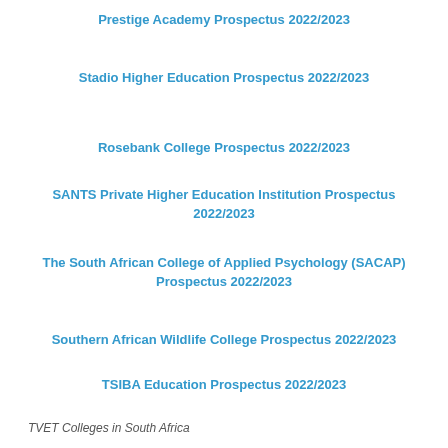Prestige Academy Prospectus 2022/2023
Stadio Higher Education Prospectus 2022/2023
Rosebank College Prospectus 2022/2023
SANTS Private Higher Education Institution Prospectus 2022/2023
The South African College of Applied Psychology (SACAP) Prospectus 2022/2023
Southern African Wildlife College Prospectus 2022/2023
TSIBA Education Prospectus 2022/2023
TVET Colleges in South Africa